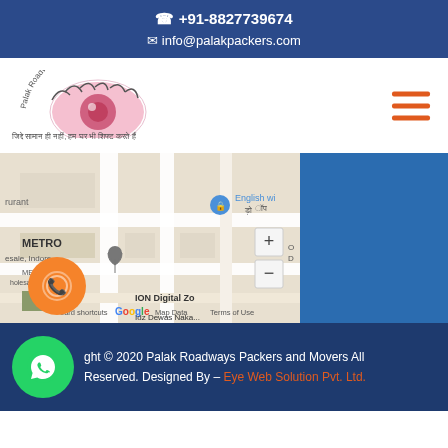📞 +91-8827739674
✉ info@palakpackers.com
[Figure (logo): Palak Roadways Packers & Movers logo with eye graphic]
[Figure (map): Google Maps screenshot showing METRO Wholesale Indore, ION Digital Zone, Dewas Naka area in Indore]
Copyright © 2020 Palak Roadways Packers and Movers All Rights Reserved. Designed By – Eye Web Solution Pvt. Ltd.